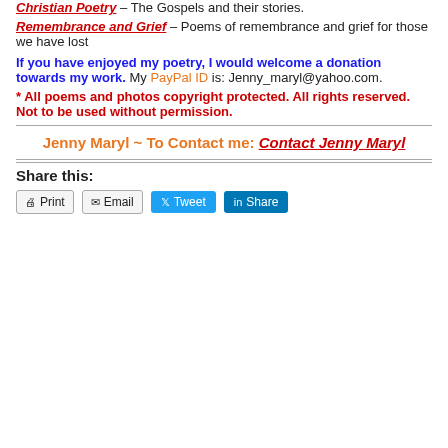Christian Poetry – The Gospels and their stories.
Remembrance and Grief – Poems of remembrance and grief for those we have lost
If you have enjoyed my poetry, I would welcome a donation towards my work. My PayPal ID is: Jenny_maryl@yahoo.com.
* All poems and photos copyright protected. All rights reserved. Not to be used without permission.
Jenny Maryl ~ To Contact me: Contact Jenny Maryl
Share this:
Print  Email  Tweet  Share